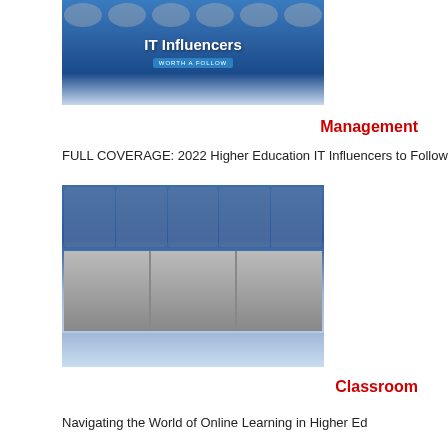[Figure (illustration): Higher Education IT Influencers Worth a Follow - promotional image with faces and blue background]
Management
FULL COVERAGE: 2022 Higher Education IT Influencers to Follow
[Figure (photo): Collage of higher education IT professionals, partially black and white, showing multiple faces]
Classroom
Navigating the World of Online Learning in Higher Ed